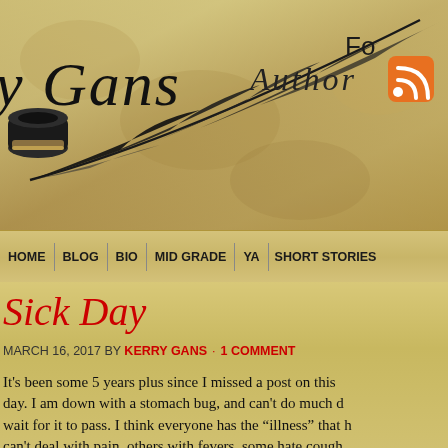[Figure (illustration): Blog header banner with parchment/aged paper texture background, a black feather quill pen with ink well, script text reading 'y Gans Author', RSS feed icon, and 'Fo' text (truncated 'Follow') in top right corner]
HOME | BLOG | BIO | MID GRADE | YA | SHORT STORIES
Sick Day
MARCH 16, 2017 BY KERRY GANS · 1 COMMENT
It's been some 5 years plus since I missed a post on this day. I am down with a stomach bug, and can't do much d wait for it to pass. I think everyone has the "illness" that h can't deal with pain, others with fevers, some hate cough me, it's my stomach/intestines. That's the one that stops